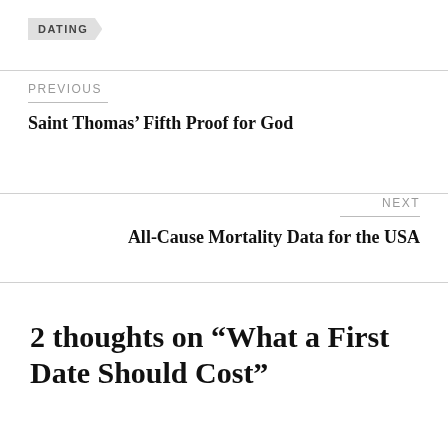DATING
PREVIOUS
Saint Thomas’ Fifth Proof for God
NEXT
All-Cause Mortality Data for the USA
2 thoughts on “What a First Date Should Cost”